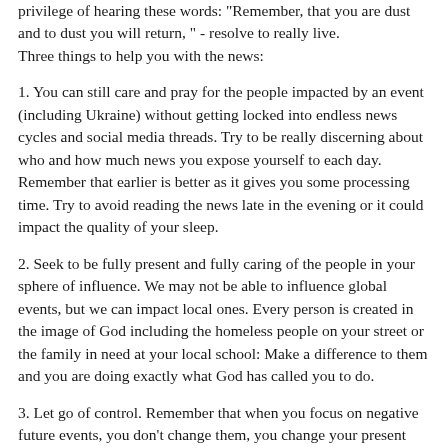privilege of hearing these words: "Remember, that you are dust and to dust you will return," - resolve to really live.
Three things to help you with the news:
1. You can still care and pray for the people impacted by an event (including Ukraine) without getting locked into endless news cycles and social media threads. Try to be really discerning about who and how much news you expose yourself to each day. Remember that earlier is better as it gives you some processing time. Try to avoid reading the news late in the evening or it could impact the quality of your sleep.
2. Seek to be fully present and fully caring of the people in your sphere of influence. We may not be able to influence global events, but we can impact local ones. Every person is created in the image of God including the homeless people on your street or the family in need at your local school: Make a difference to them and you are doing exactly what God has called you to do.
3. Let go of control. Remember that when you focus on negative future events, you don't change them, you change your present moment: You become